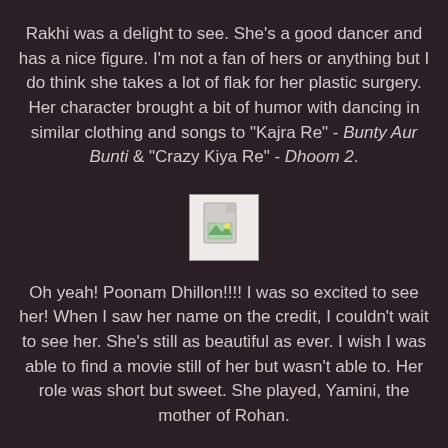Rakhi was a delight to see. She's a good dancer and has a nice figure. I'm not a fan of hers or anything but I do think she takes a lot of flak for her plastic surgery. Her character brought a bit of humor with dancing in similar clothing and songs to "Kajra Re" - Bunty Aur Bunti & "Crazy Kiya Re" - Dhoom 2.
[Figure (illustration): Broken image placeholder icon]
Oh yeah! Poonam Dhillon!!!! I was so excited to see her! When I saw her name on the credit, I couldn't wait to see her. She's still as beautiful as ever. I wish I was able to find a movie still of her but wasn't able to. Her role was short but sweet. She played, Yamini, the mother of Rohan.
[Figure (illustration): Broken image placeholder icon]
Let's not forget the two friendemies India's cricket manager - Vicky (Anupam Kher) & Pakistan's cricket manager - Lucky (Dilip Tahil)